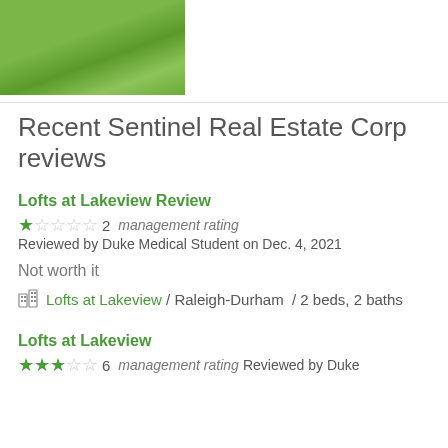[Figure (photo): Outdoor photo showing green lawn and landscaping, partial view of building or park area]
Recent Sentinel Real Estate Corp reviews
Lofts at Lakeview Review
★☆☆☆☆ 2  management rating Reviewed by Duke Medical Student on Dec. 4, 2021
Not worth it
🏢 Lofts at Lakeview / Raleigh-Durham / 2 beds, 2 baths
Lofts at Lakeview
★★★☆☆ 6  management rating Reviewed by Duke